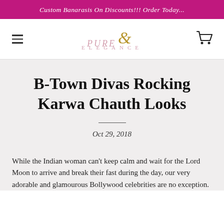Custom Banarasis On Discounts!!! Order Today...
[Figure (logo): Pure Elegance brand logo with stylized ampersand in gold and pink lettering]
B-Town Divas Rocking Karwa Chauth Looks
Oct 29, 2018
While the Indian woman can't keep calm and wait for the Lord Moon to arrive and break their fast during the day, our very adorable and glamourous Bollywood celebrities are no exception.